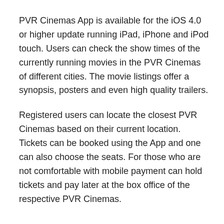PVR Cinemas App is available for the iOS 4.0 or higher update running iPad, iPhone and iPod touch. Users can check the show times of the currently running movies in the PVR Cinemas of different cities. The movie listings offer a synopsis, posters and even high quality trailers.
Registered users can locate the closest PVR Cinemas based on their current location. Tickets can be booked using the App and one can also choose the seats. For those who are not comfortable with mobile payment can hold tickets and pay later at the box office of the respective PVR Cinemas.